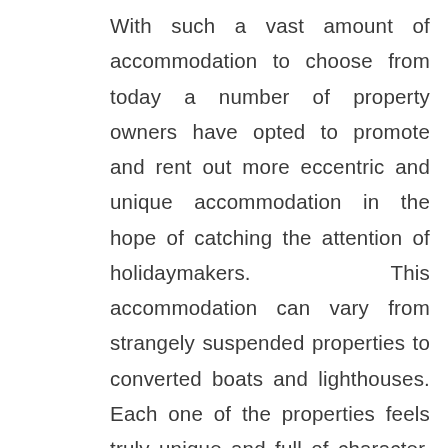With such a vast amount of accommodation to choose from today a number of property owners have opted to promote and rent out more eccentric and unique accommodation in the hope of catching the attention of holidaymakers. This accommodation can vary from strangely suspended properties to converted boats and lighthouses. Each one of the properties feels truly unique and full of character, and a memorable holiday stay is sure to follow anyone who chooses to stay in such a place.